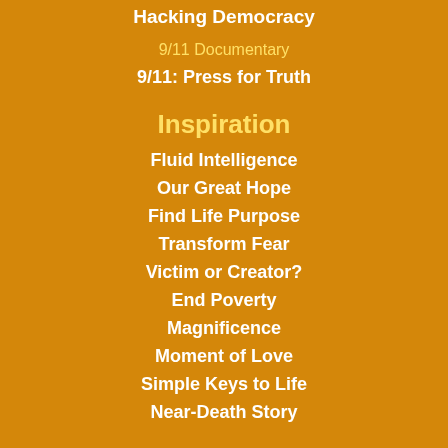Hacking Democracy
9/11 Documentary
9/11: Press for Truth
Inspiration
Fluid Intelligence
Our Great Hope
Find Life Purpose
Transform Fear
Victim or Creator?
End Poverty
Magnificence
Moment of Love
Simple Keys to Life
Near-Death Story